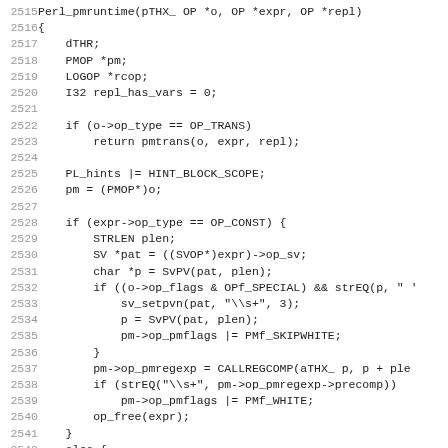[Figure (screenshot): Source code listing in monospace font showing C code for Perl_pmruntime function, lines 2515-2546, with line numbers on the left and code on the right.]